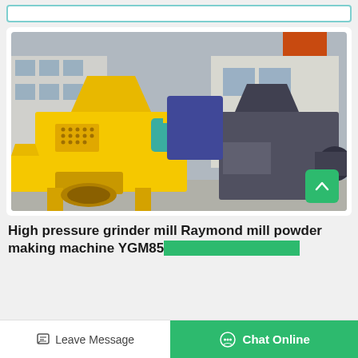[Figure (photo): Industrial machinery photo showing a yellow high-pressure grinder mill / Raymond mill powder making machine in a factory/outdoor yard setting, with additional grey industrial equipment visible in the background.]
High pressure grinder mill Raymond mill powder making machine YGM85…
Leave Message
Chat Online